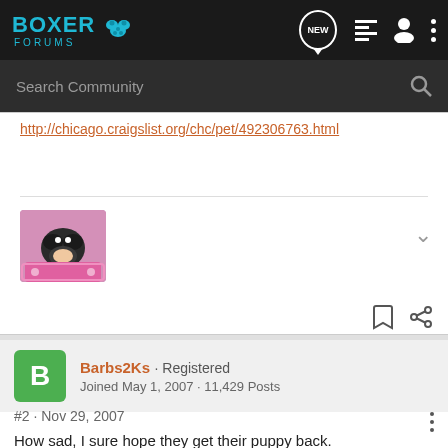Boxer Forums
http://chicago.craigslist.org/chc/pet/492306763.html
[Figure (photo): Avatar thumbnail showing a boxer dog in pink/colorful clothing]
Barbs2Ks · Registered
Joined May 1, 2007 · 11,429 Posts
#2 · Nov 29, 2007
How sad, I sure hope they get their puppy back.